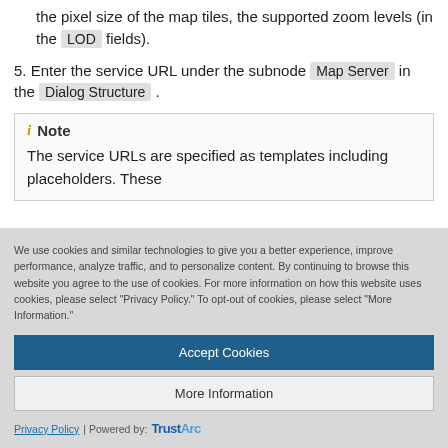the pixel size of the map tiles, the supported zoom levels (in the LOD fields).
5. Enter the service URL under the subnode Map Server in the Dialog Structure .
Note
The service URLs are specified as templates including placeholders. These
We use cookies and similar technologies to give you a better experience, improve performance, analyze traffic, and to personalize content. By continuing to browse this website you agree to the use of cookies. For more information on how this website uses cookies, please select “Privacy Policy.” To opt-out of cookies, please select “More Information.”
Accept Cookies
More Information
Privacy Policy | Powered by: TrustArc
and can be assigned to an application.